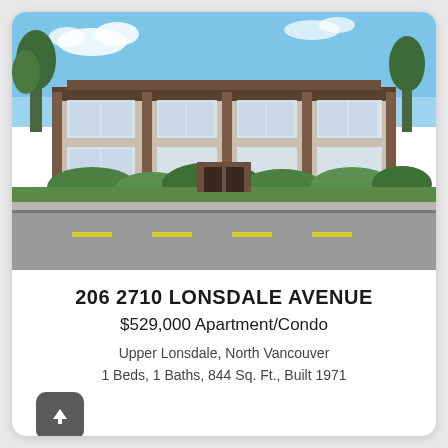[Figure (photo): Exterior photo of a multi-storey brick and wood apartment building at 2710 Lonsdale Avenue, North Vancouver, with lush green landscaping in front and a wide road in the foreground, blue sky above.]
206 2710 LONSDALE AVENUE
$529,000 Apartment/Condo
Upper Lonsdale, North Vancouver
1 Beds, 1 Baths, 844 Sq. Ft., Built 1971
Behroyan & Associates Real Estate Services (R2719546)